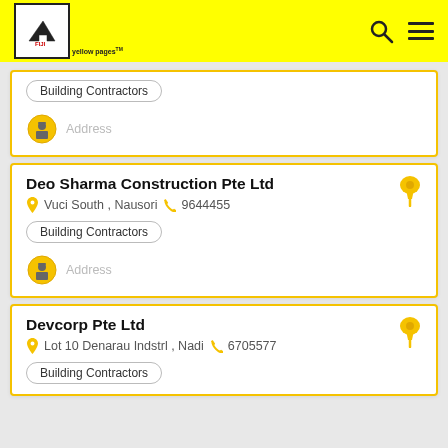Fiji Yellow Pages
Building Contractors | Address
Deo Sharma Construction Pte Ltd | Vuci South, Nausori | 9644455 | Building Contractors | Address
Devcorp Pte Ltd | Lot 10 Denarau Indstrl, Nadi | 6705577 | Building Contractors